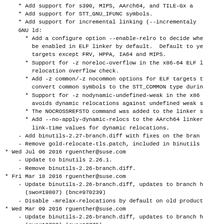* Add support for s390, MIPS, AArch64, and TILE-Gx a
* Add support for STT_GNU_IFUNC symbols.
* Add support for incremental linking (--incrementally
GNU ld:
* Add a configure option --enable-relro to decide whe
  be enabled in ELF linker by default.  Default to ye
  targets except FRV, HPPA, IA64 and MIPS.
* Support for -z noreloc-overflow in the x86-64 ELF l
  relocation overflow check.
* Add -z common/-z nocommon options for ELF targets t
  convert common symbols to the STT_COMMON type durin
* Support for -z nodynamic-undefined-weak in the x86
  avoids dynamic relocations against undefined weak s
* The NOCROSSREFSTO command was added to the linker s
* Add --no-apply-dynamic-relocs to the AArch64 linker
  link-time values for dynamic relocations.
- Add binutils-2.27-branch.diff with fixes on the bran
- Remove gold-relocate-tls.patch, included in binutils
* Wed Jul 06 2016 rguenther@suse.com
  - Update to binutils 2.26.1.
  - Remove binutils-2.26-branch.diff.
* Fri Mar 18 2016 rguenther@suse.com
  - Update binutils-2.26-branch.diff, updates to branch h
    (swo#19807) (bnc#970239)
  - Disable -mrelax-relocations by default on old produc
* Wed Mar 09 2016 rguenther@suse.com
  - Update binutils-2.26-branch.diff, updates to branch h
    (swo#19739) (swo#19775)
* Mon Feb 29 2016 rguenther@suse.com
  - Add binutils-2.26-branch.diff, updates to branch hea